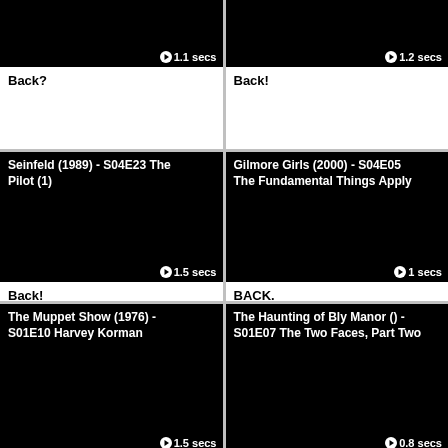[Figure (screenshot): Black video thumbnail with play button and duration 1.1 secs]
Back?
[Figure (screenshot): Black video thumbnail with play button and duration 1.2 secs]
Back!
[Figure (screenshot): Black video thumbnail with title Seinfeld (1989) - S04E23 The Pilot (1) and duration 1.5 secs]
Back!
[Figure (screenshot): Black video thumbnail with title Gilmore Girls (2000) - S04E05 The Fundamental Things Apply and duration 1 secs]
BACK.
[Figure (screenshot): Black video thumbnail with title The Muppet Show (1976) - S01E10 Harvey Korman and duration 1.5 secs]
[Figure (screenshot): Black video thumbnail with title The Haunting of Bly Manor () - S01E07 The Two Faces, Part Two and duration 0.8 secs]